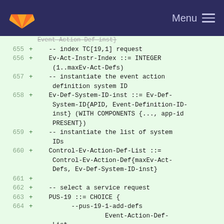GitLab navigation bar with logo and Menu
655 + -- index TC[19,1] request
656 + Ev-Act-Instr-Index ::= INTEGER (1..maxEv-Act-Defs)
657 + -- instantiate the event action definition system ID
658 + Ev-Def-System-ID-inst ::= Ev-Def-System-ID{APID, Event-Definition-ID-inst} (WITH COMPONENTS {..., app-id PRESENT})
659 + -- instantiate the list of system IDs
660 + Control-Ev-Action-Def-List ::= Control-Ev-Action-Def{maxEv-Act-Defs, Ev-Def-System-ID-inst}
661 +
662 + -- select a service request
663 + PUS-19 ::= CHOICE {
664 + --pus-19-1-add-defs Event-Action-Def-List